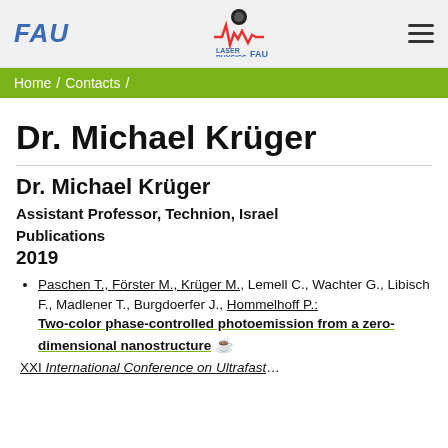[Figure (logo): FAU university website header with FAU logo on left, Laser Physics FAU logo in center, hamburger menu on right]
Home / Contacts /
Dr. Michael Krüger
Dr. Michael Krüger
Assistant Professor, Technion, Israel
Publications
2019
Paschen T., Förster M., Krüger M., Lemell C., Wachter G., Libisch F., Madlener T., Burgdoerfer J., Hommelhoff P.: Two-color phase-controlled photoemission from a zero-dimensional nanostructure [open access] XXI International Conference on Ultrafast...